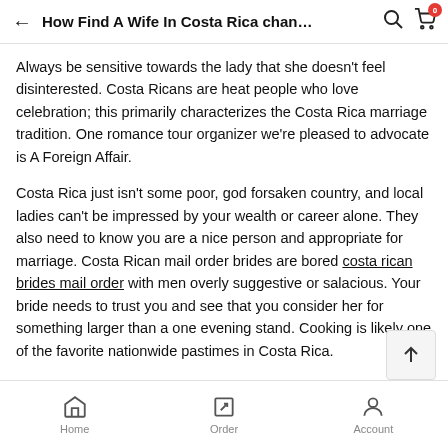How Find A Wife In Costa Rica chan…
Always be sensitive towards the lady that she doesn't feel disinterested. Costa Ricans are heat people who love celebration; this primarily characterizes the Costa Rica marriage tradition. One romance tour organizer we're pleased to advocate is A Foreign Affair.
Costa Rica just isn't some poor, god forsaken country, and local ladies can't be impressed by your wealth or career alone. They also need to know you are a nice person and appropriate for marriage. Costa Rican mail order brides are bored costa rican brides mail order with men overly suggestive or salacious. Your bride needs to trust you and see that you consider her for something larger than a one evening stand. Cooking is likely one of the favorite nationwide pastimes in Costa Rica.
Home   Order   Account